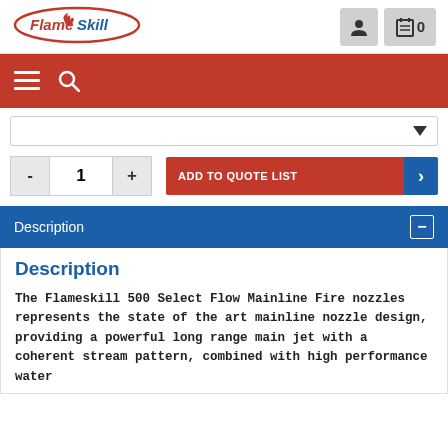[Figure (logo): FlameSkill logo — red oval border with 'Flame' in red italic and 'Skill' in blue italic text, with a small flame icon]
[Figure (screenshot): User account icon button (grey square with person silhouette)]
[Figure (screenshot): Quote list icon button showing clipboard icon with '0' badge]
[Figure (screenshot): Red navigation bar with hamburger menu icon and search icon]
[Figure (screenshot): Dropdown selector bar with down arrow]
[Figure (screenshot): Quantity selector showing minus button, value 1, plus button, and red ADD TO QUOTE LIST button with blue arrow]
Description
Description
The Flameskill 500 Select Flow Mainline Fire nozzles represents the state of the art mainline nozzle design, providing a powerful long range main jet with a coherent stream pattern, combined with high performance water